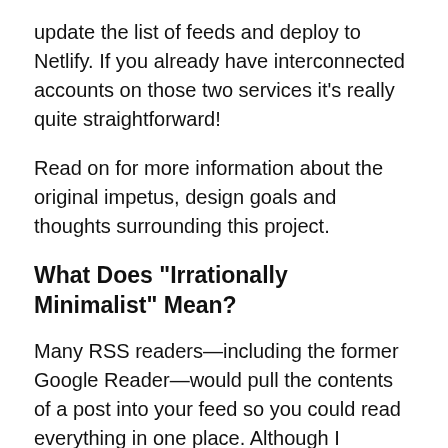update the list of feeds and deploy to Netlify. If you already have interconnected accounts on those two services it's really quite straightforward!
Read on for more information about the original impetus, design goals and thoughts surrounding this project.
What Does "Irrationally Minimalist" Mean?
Many RSS readers—including the former Google Reader—would pull the contents of a post into your feed so you could read everything in one place. Although I completely understand why someone would want to do that, I decided even that introduced too much complexity for my liking.
My goal with Rubs Reader was to be able to see a list